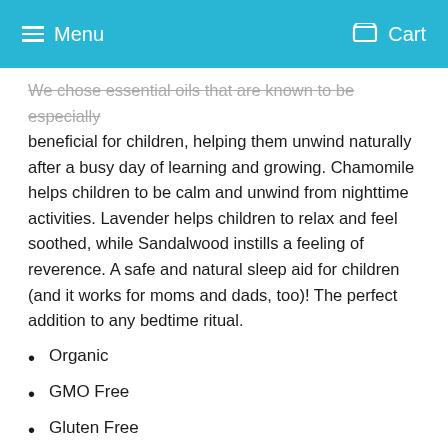Menu | Cart
We chose essential oils that are known to be especially beneficial for children, helping them unwind naturally after a busy day of learning and growing. Chamomile helps children to be calm and unwind from nighttime activities. Lavender helps children to relax and feel soothed, while Sandalwood instills a feeling of reverence. A safe and natural sleep aid for children (and it works for moms and dads, too)! The perfect addition to any bedtime ritual.
Organic
GMO Free
Gluten Free
Bcorp Certified
*Olea Europaea (Extra Virgin Olive) Oil, *Cera Alba (Beeswax), *Ricinus Communis (Castor) Oil, *Aloe Barbadensis (Aloe) Extract, Essential Oils of *Lavandula Angustifolia (Lavender),